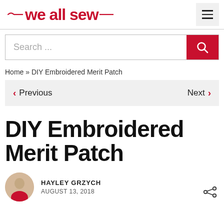we all sew
Search ...
Home » DIY Embroidered Merit Patch
< Previous   Next >
DIY Embroidered Merit Patch
HAYLEY GRZYCH
AUGUST 13, 2018